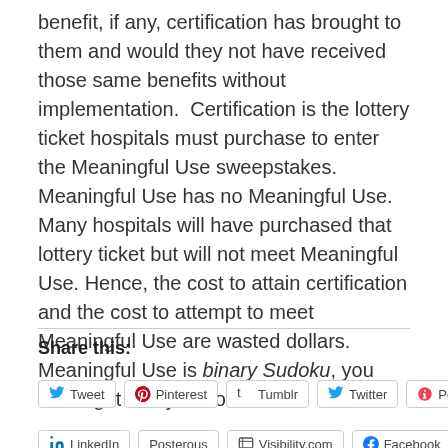benefit, if any, certification has brought to them and would they not have received those same benefits without implementation.  Certification is the lottery ticket hospitals must purchase to enter the Meaningful Use sweepstakes.  Meaningful Use has no Meaningful Use. Many hospitals will have purchased that lottery ticket but will not meet Meaningful Use. Hence, the cost to attain certification and the cost to attempt to meet Meaningful Use are wasted dollars.  Meaningful Use is binary Sudoku, you either get it or you do not.
Share this:
Tweet
Pinterest
Tumblr
Twitter
Pocket
LinkedIn
Posterous
Visibility.com
Facebook